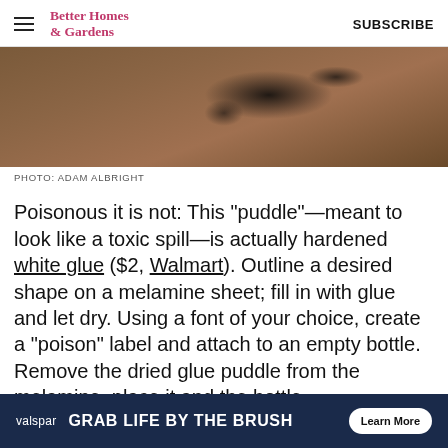Better Homes & Gardens   SUBSCRIBE
[Figure (photo): Close-up photo of dark dried glue puddle on a wooden surface, photographed by Adam Albright]
PHOTO: ADAM ALBRIGHT
Poisonous it is not: This "puddle"—meant to look like a toxic spill—is actually hardened white glue ($2, Walmart). Outline a desired shape on a melamine sheet; fill in with glue and let dry. Using a font of your choice, create a "poison" label and attach to an empty bottle. Remove the dried glue puddle from the melamine, place it and the bottle
[Figure (screenshot): Valspar advertisement banner with dark blue background, valspar logo, tagline GRAB LIFE BY THE BRUSH, and Learn More button]